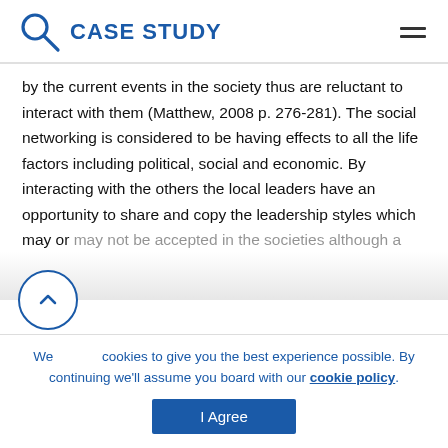CASE STUDY
by the current events in the society thus are reluctant to interact with them (Matthew, 2008 p. 276-281). The social networking is considered to be having effects to all the life factors including political, social and economic. By interacting with the others the local leaders have an opportunity to share and copy the leadership styles which may or may not be accepted in the societies although a
We use cookies to give you the best experience possible. By continuing we'll assume you board with our cookie policy.
I Agree